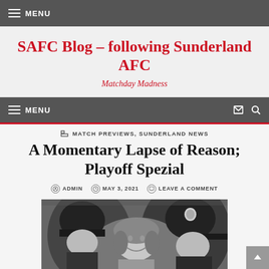≡ MENU
SAFC Blog – following Sunderland AFC
Matchday Madness
≡ MENU
MATCH PREVIEWS, SUNDERLAND NEWS
A Momentary Lapse of Reason; Playoff Spezial
ADMIN  MAY 3, 2021  LEAVE A COMMENT
[Figure (photo): Black and white photograph showing a smiling woman between two police officers wearing helmets, at what appears to be a football match]